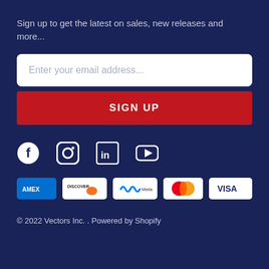Sign up to get the latest on sales, new releases and more...
[Figure (screenshot): Email input field with placeholder text 'Enter your email address...']
[Figure (screenshot): Red SIGN UP button]
[Figure (infographic): Social media icons: Facebook, Instagram, LinkedIn, YouTube]
[Figure (infographic): Payment method logos: AMEX, Discover, Meta Pay, Mastercard, Visa]
© 2022 Vectors Inc. . Powered by Shopify